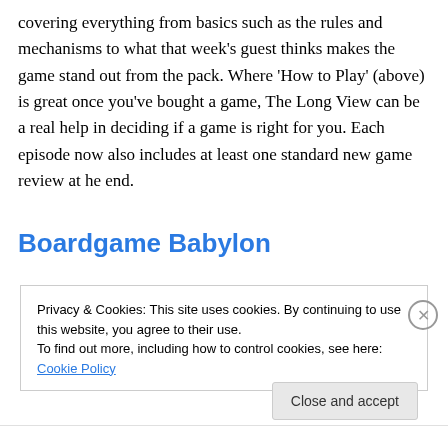covering everything from basics such as the rules and mechanisms to what that week's guest thinks makes the game stand out from the pack. Where 'How to Play' (above) is great once you've bought a game, The Long View can be a real help in deciding if a game is right for you. Each episode now also includes at least one standard new game review at he end.
Boardgame Babylon
Privacy & Cookies: This site uses cookies. By continuing to use this website, you agree to their use. To find out more, including how to control cookies, see here: Cookie Policy
Close and accept